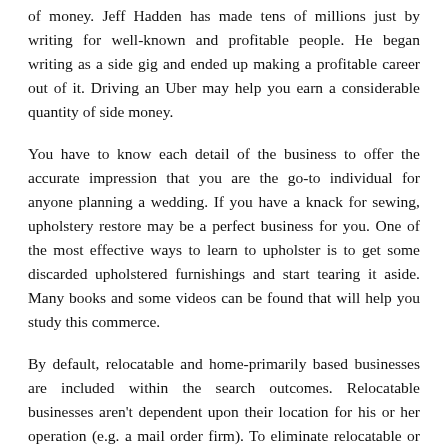of money. Jeff Hadden has made tens of millions just by writing for well-known and profitable people. He began writing as a side gig and ended up making a profitable career out of it. Driving an Uber may help you earn a considerable quantity of side money.
You have to know each detail of the business to offer the accurate impression that you are the go-to individual for anyone planning a wedding. If you have a knack for sewing, upholstery restore may be a perfect business for you. One of the most effective ways to learn to upholster is to get some discarded upholstered furnishings and start tearing it aside. Many books and some videos can be found that will help you study this commerce.
By default, relocatable and home-primarily based businesses are included within the search outcomes. Relocatable businesses aren't dependent upon their location for his or her operation (e.g. a mail order firm). To eliminate relocatable or residence-based mostly businesses from your results, click on the appropriate button. The authorities limits competitors for certain contracts to businesses that participate within the